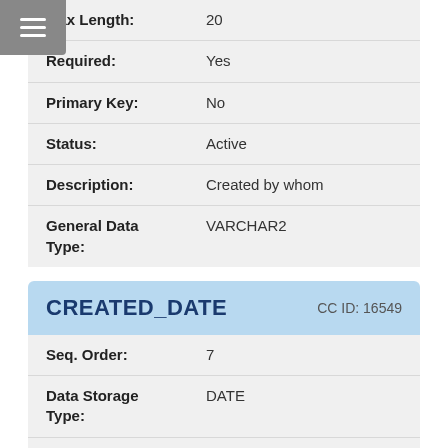| Field | Value |
| --- | --- |
| Max Length: | 20 |
| Required: | Yes |
| Primary Key: | No |
| Status: | Active |
| Description: | Created by whom |
| General Data Type: | VARCHAR2 |
CREATED_DATE    CC ID: 16549
| Field | Value |
| --- | --- |
| Seq. Order: | 7 |
| Data Storage Type: | DATE |
| Max Length: | 7 |